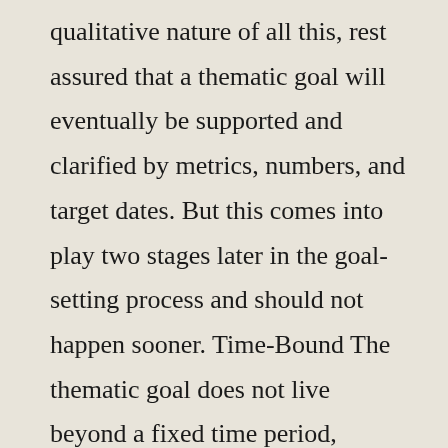qualitative nature of all this, rest assured that a thematic goal will eventually be supported and clarified by metrics, numbers, and target dates. But this comes into play two stages later in the goal-setting process and should not happen sooner. Time-Bound The thematic goal does not live beyond a fixed time period, because that would suggest that it is an ongoing objective. To the contrary, it is a desired achievement that is particularly important during that period, and must therefore be accomplished in a corresponding time frame. That time frame is